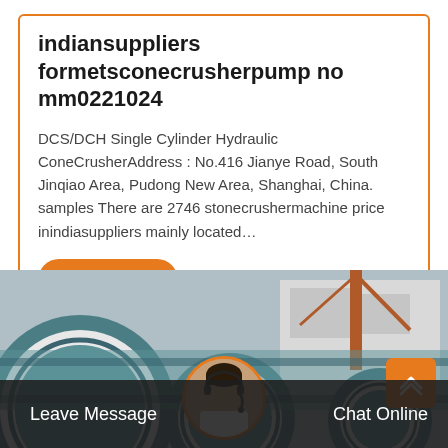indiansuppliers formetsconecrusherpump no mm0221024
DCS/DCH Single Cylinder Hydraulic ConeCrusherAddress : No.416 Jianye Road, South Jinqiao Area, Pudong New Area, Shanghai, China. samples There are 2746 stonecrushermachine price inindiasuppliers mainly located…
[Figure (other): Button labeled 'Get Price' with orange rounded rectangle background]
[Figure (photo): Industrial machinery photo showing large cylindrical mill/crusher equipment with teal/blue-grey color, industrial building and crane in background]
Leave Message
Chat Online